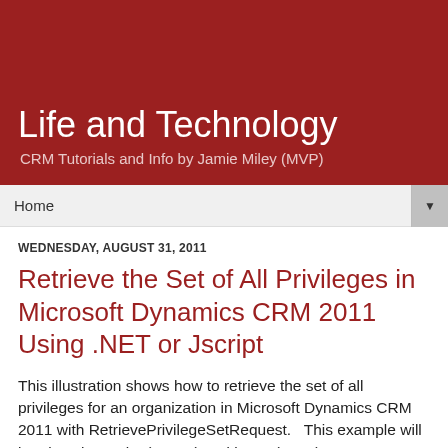Life and Technology
CRM Tutorials and Info by Jamie Miley (MVP)
Home
WEDNESDAY, AUGUST 31, 2011
Retrieve the Set of All Privileges in Microsoft Dynamics CRM 2011 Using .NET or Jscript
This illustration shows how to retrieve the set of all privileges for an organization in Microsoft Dynamics CRM 2011 with RetrievePrivilegeSetRequest.  This example will be given in Jscript (SOAP) and in C# (.NET).